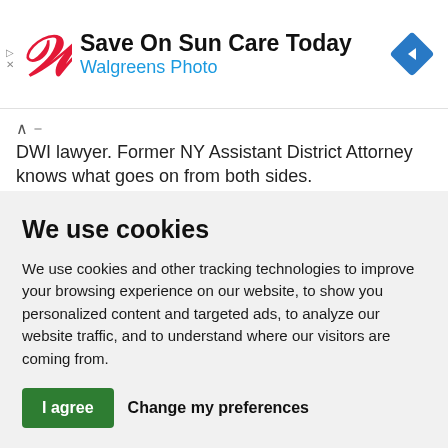[Figure (screenshot): Walgreens Photo advertisement banner with red W logo, text 'Save On Sun Care Today' and 'Walgreens Photo', and a blue diamond navigation arrow icon on the right.]
DWI lawyer. Former NY Assistant District Attorney knows what goes on from both sides.
nydwi-lawyer.com
We use cookies
We use cookies and other tracking technologies to improve your browsing experience on our website, to show you personalized content and targeted ads, to analyze our website traffic, and to understand where our visitors are coming from.
I agree  Change my preferences